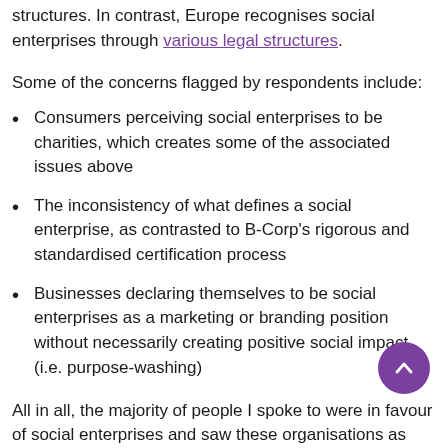structures. In contrast, Europe recognises social enterprises through various legal structures.
Some of the concerns flagged by respondents include:
Consumers perceiving social enterprises to be charities, which creates some of the associated issues above
The inconsistency of what defines a social enterprise, as contrasted to B-Corp's rigorous and standardised certification process
Businesses declaring themselves to be social enterprises as a marketing or branding position without necessarily creating positive social impact (i.e. purpose-washing)
All in all, the majority of people I spoke to were in favour of social enterprises and saw these organisations as